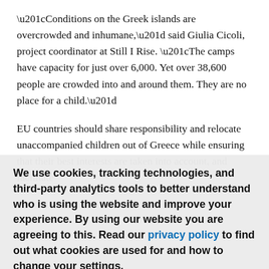“Conditions on the Greek islands are overcrowded and inhumane,” said Giulia Cicoli, project coordinator at Still I Rise. “The camps have capacity for just over 6,000. Yet over 38,600 people are crowded into and around them. They are no place for a child.”
EU countries should share responsibility and relocate unaccompanied children out of Greece while ensuring that their best interests are taken into account, and facilitate
We use cookies, tracking technologies, and third-party analytics tools to better understand who is using the website and improve your experience. By using our website you are agreeing to this. Read our privacy policy to find out what cookies are used for and how to change your settings.
Accept
Other options